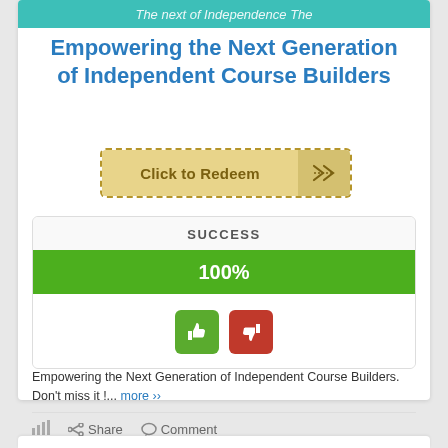[Figure (screenshot): Partial teal banner at top showing truncated italic text]
Empowering the Next Generation of Independent Course Builders
[Figure (infographic): Click to Redeem button with dashed golden border and scissors icon]
[Figure (infographic): SUCCESS progress box showing 100% green progress bar with thumbs up (green) and thumbs down (red) buttons]
Empowering the Next Generation of Independent Course Builders. Don't miss it !... more ››
[Figure (infographic): Action row with bar chart icon, Share and Comment options]